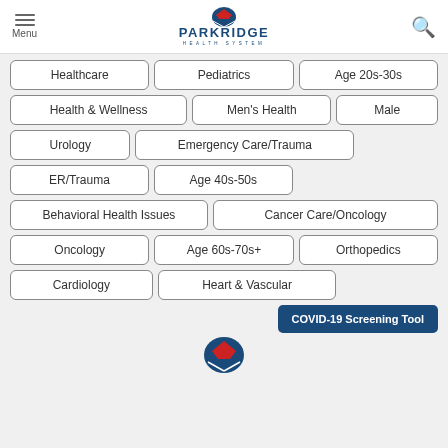Menu | PARKRIDGE HEALTH SYSTEM
Healthcare
Pediatrics
Age 20s-30s
Health & Wellness
Men's Health
Male
Urology
Emergency Care/Trauma
ER/Trauma
Age 40s-50s
Behavioral Health Issues
Cancer Care/Oncology
Oncology
Age 60s-70s+
Orthopedics
Cardiology
Heart & Vascular
COVID-19 Screening Tool
[Figure (logo): Parkridge Health System logo at bottom of page]